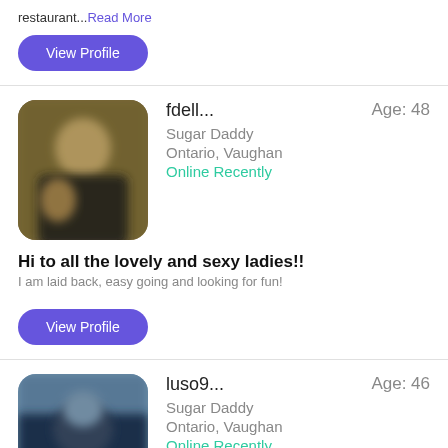restaurant...Read More
View Profile
[Figure (photo): Blurred profile photo of fdell, person in black sleeveless top]
fdell...   Age: 48
Sugar Daddy
Ontario, Vaughan
Online Recently
Hi to all the lovely and sexy ladies!!
I am laid back, easy going and looking for fun!
View Profile
[Figure (photo): Blurred profile photo of luso9, person outdoors]
luso9...   Age: 46
Sugar Daddy
Ontario, Vaughan
Online Recently